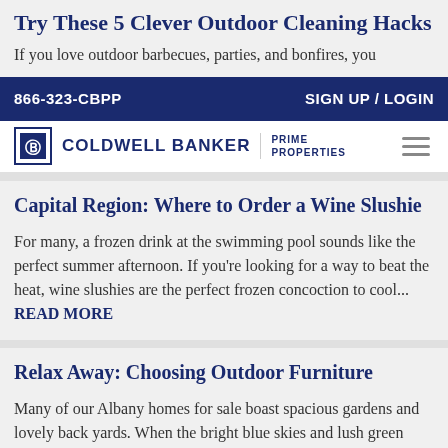Try These 5 Clever Outdoor Cleaning Hacks
If you love outdoor barbecues, parties, and bonfires, you
866-323-CBPP    SIGN UP / LOGIN
[Figure (logo): Coldwell Banker Prime Properties logo with hamburger menu icon]
Capital Region: Where to Order a Wine Slushie
For many, a frozen drink at the swimming pool sounds like the perfect summer afternoon. If you're looking for a way to beat the heat, wine slushies are the perfect frozen concoction to cool... READ MORE
Relax Away: Choosing Outdoor Furniture
Many of our Albany homes for sale boast spacious gardens and lovely back yards. When the bright blue skies and lush green lawns of Indian summer beckon you to heat the grill,